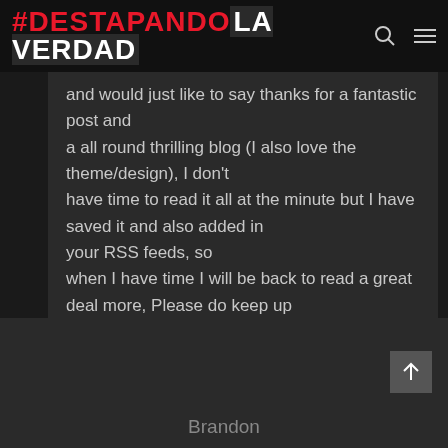#DESTAPANDO LA VERDAD
and would just like to say thanks for a fantastic post and a all round thrilling blog (I also love the theme/design), I don't have time to read it all at the minute but I have saved it and also added in your RSS feeds, so when I have time I will be back to read a great deal more, Please do keep up the superb job.
Brandon